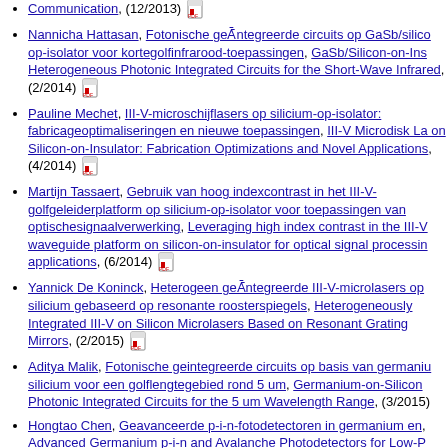Communication, (12/2013) [pdf]
Nannicha Hattasan, Fotonische geĀ¯ntegreerde circuits op GaSb/silico op-isolator voor kortegolfinfrarood-toepassingen, GaSb/Silicon-on-Ins Heterogeneous Photonic Integrated Circuits for the Short-Wave Infrared, (2/2014) [pdf]
Pauline Mechet, III-V-microschijflasers op silicium-op-isolator: fabricageoptimaliseringen en nieuwe toepassingen, III-V Microdisk La on Silicon-on-Insulator: Fabrication Optimizations and Novel Applications, (4/2014) [pdf]
Martijn Tassaert, Gebruik van hoog indexcontrast in het III-V-golfgeleiderplatform op silicium-op-isolator voor toepassingen van optischesignaalverwerking, Leveraging high index contrast in the III-V waveguide platform on silicon-on-insulator for optical signal processin applications, (6/2014) [pdf]
Yannick De Koninck, Heterogeen geĀ¯ntegreerde III-V-microlasers op silicium gebaseerd op resonante roosterspiegels, Heterogeneously Integrated III-V on Silicon Microlasers Based on Resonant Grating Mirrors, (2/2015) [pdf]
Aditya Malik, Fotonische geintegreerde circuits op basis van germaniu silicium voor een golflengtegebied rond 5 um, Germanium-on-Silicon Photonic Integrated Circuits for the 5 um Wavelength Range, (3/2015)
Hongtao Chen, Geavanceerde p-i-n-fotodetectoren in germanium en, Advanced Germanium p-i-n and Avalanche Photodetectors for Low-P Optical Interconnects, (9/2016) [pdf]
Amin Abbasi, Hoge snelheid direct gemoduleerde III-V-op-Silicum DF lasers, High speed directly modulated III-V-on-Silicon DFB lasers, (11/2016) [pdf]